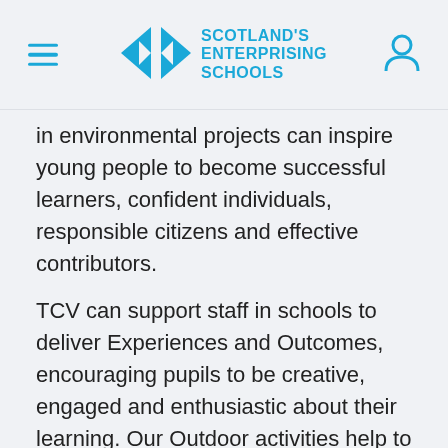Scotland's Enterprising Schools
...participating in environmental projects can inspire young people to become successful learners, confident individuals, responsible citizens and effective contributors.
TCV can support staff in schools to deliver Experiences and Outcomes, encouraging pupils to be creative, engaged and enthusiastic about their learning. Our Outdoor activities help to